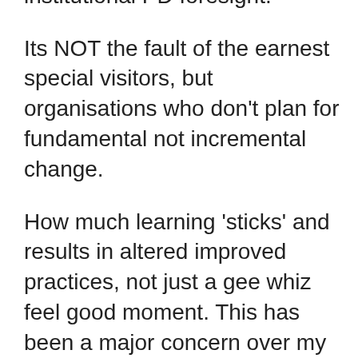entertain and cover up a lack of institutional PD foresight.
Its NOT the fault of the earnest special visitors, but organisations who don't plan for fundamental not incremental change.
How much learning 'sticks' and results in altered improved practices, not just a gee whiz feel good moment. This has been a major concern over my 25 yrs in